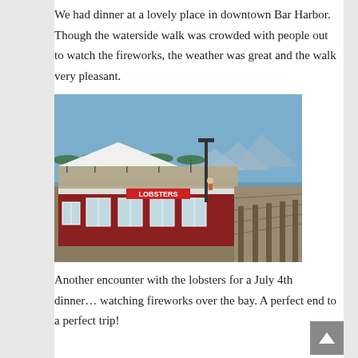We had dinner at a lovely place in downtown Bar Harbor. Though the waterside walk was crowded with people out to watch the fireworks, the weather was great and the walk very pleasant.
[Figure (photo): A waterfront restaurant building with a red lower level and open deck on top, with a large sign reading LOBSTERS, supported on wooden dock pilings, with mountains and water visible in the background under a blue sky.]
Another encounter with the lobsters for a July 4th dinner… watching fireworks over the bay. A perfect end to a perfect trip!
~Ria